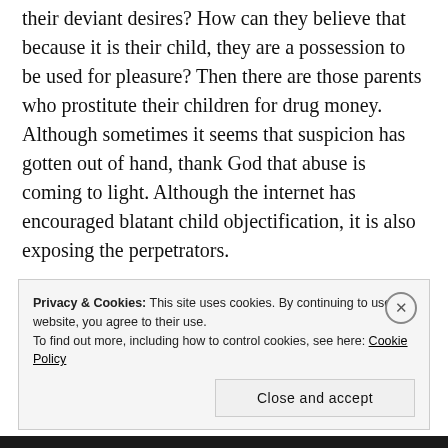their deviant desires? How can they believe that because it is their child, they are a possession to be used for pleasure? Then there are those parents who prostitute their children for drug money. Although sometimes it seems that suspicion has gotten out of hand, thank God that abuse is coming to light. Although the internet has encouraged blatant child objectification, it is also exposing the perpetrators.
Privacy & Cookies: This site uses cookies. By continuing to use this website, you agree to their use. To find out more, including how to control cookies, see here: Cookie Policy